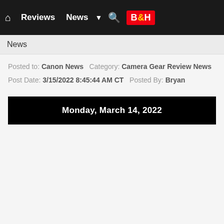🏠 Reviews  News  ▼  🔍  B&H
News
Posted to: Canon News   Category: Camera Gear Review News
Post Date: 3/15/2022 8:45:44 AM CT   Posted By: Bryan
Monday, March 14, 2022